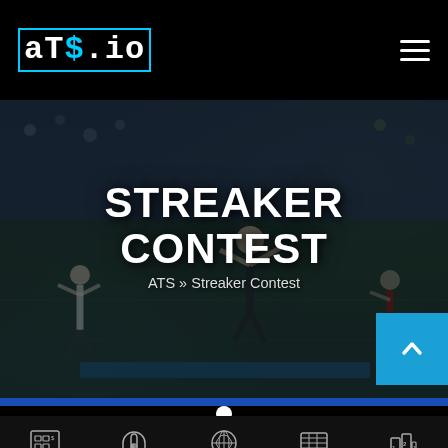ATS.io — Streaker Contest page header with logo and hamburger menu
[Figure (photo): Hero banner background showing a female streaker running on a soccer/football field during a match, with players and crowd visible in the background. Dark overlay applied.]
STREAKER CONTEST
ATS » Streaker Contest
Sportsbooks | Promos | Matchups | Odds | Picks — bottom navigation bar